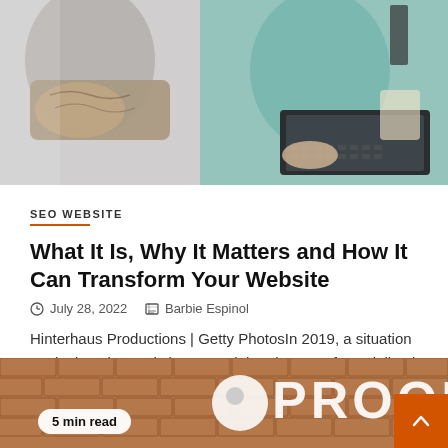[Figure (photo): Two people working at laptops, one with tattooed arms, collaborative work environment]
SEO WEBSITE
What It Is, Why It Matters and How It Can Transform Your Website
July 28, 2022   Barbie Espinol
Hinterhaus Productions | Getty PhotosIn 2019, a situation study done by Analytive proved that the use of specialized look for...
[Figure (photo): Brick wall with large white PROOF logo letters, company signage]
5 min read